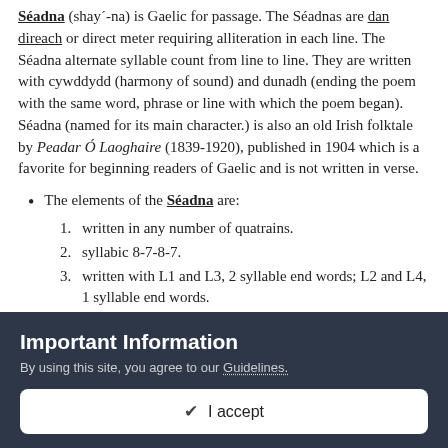Séadna (shay´-na) is Gaelic for passage. The Séadnas are dan direach or direct meter requiring alliteration in each line. The Séadna alternate syllable count from line to line. They are written with cywddydd (harmony of sound) and dunadh (ending the poem with the same word, phrase or line with which the poem began). Séadna (named for its main character.) is also an old Irish folktale by Peadar Ó Laoghaire (1839-1920), published in 1904 which is a favorite for beginning readers of Gaelic and is not written in verse.
The elements of the Séadna are:
1. written in any number of quatrains.
2. syllabic 8-7-8-7.
3. written with L1 and L3, 2 syllable end words; L2 and L4, 1 syllable end words.
4. rhymed. L2 and L4 end rhyme, L3 rhymes with the stressed word preceding the final word of L4. There
Important Information
By using this site, you agree to our Guidelines.
✔ I accept